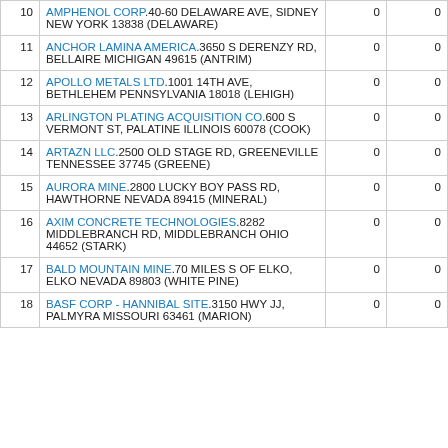| # | Facility Name / Address | Col3 | Col4 |
| --- | --- | --- | --- |
| 10 | AMPHENOL CORP.40-60 DELAWARE AVE, SIDNEY NEW YORK 13838 (DELAWARE) | 0 | 0 |
| 11 | ANCHOR LAMINA AMERICA.3650 S DERENZY RD, BELLAIRE MICHIGAN 49615 (ANTRIM) | 0 | 0 |
| 12 | APOLLO METALS LTD.1001 14TH AVE, BETHLEHEM PENNSYLVANIA 18018 (LEHIGH) | 0 | 0 |
| 13 | ARLINGTON PLATING ACQUISITION CO.600 S VERMONT ST, PALATINE ILLINOIS 60078 (COOK) | 0 | 0 |
| 14 | ARTAZN LLC.2500 OLD STAGE RD, GREENEVILLE TENNESSEE 37745 (GREENE) | 0 | 0 |
| 15 | AURORA MINE.2800 LUCKY BOY PASS RD, HAWTHORNE NEVADA 89415 (MINERAL) | 0 | 0 |
| 16 | AXIM CONCRETE TECHNOLOGIES.8282 MIDDLEBRANCH RD, MIDDLEBRANCH OHIO 44652 (STARK) | 0 | 0 |
| 17 | BALD MOUNTAIN MINE.70 MILES S OF ELKO, ELKO NEVADA 89803 (WHITE PINE) | 0 | 0 |
| 18 | BASF CORP - HANNIBAL SITE.3150 HWY JJ, PALMYRA MISSOURI 63461 (MARION) | 0 | 0 |